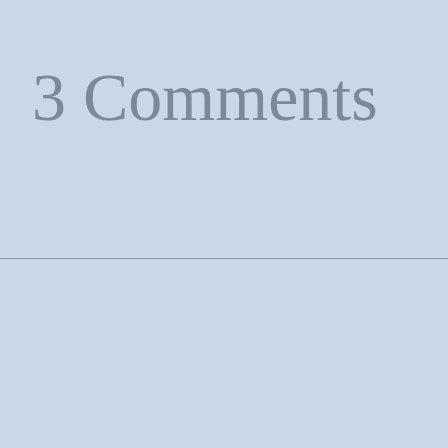3 Comments
Privacy & Cookies: This site uses cookies. By continuing to use this website, you agree to their use. To find out more, including how to control cookies, see here: Cookie Policy
Close and accept
02